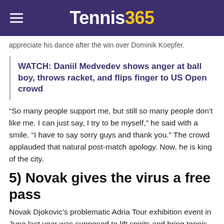Tennis365
appreciate his dance after the win over Dominik Koepfer.
WATCH: Daniil Medvedev shows anger at ball boy, throws racket, and flips finger to US Open crowd
“So many people support me, but still so many people don’t like me. I can just say, I try to be myself,” he said with a smile. “I have to say sorry guys and thank you.” The crowd applauded that natural post-match apology. Now, he is king of the city.
5) Novak gives the virus a free pass
Novak Djokovic’s problematic Adria Tour exhibition event in June last year was supposed to lift spirits and bring tennis back gingerly in the midst of a pandemic. Unfortunately – and unsurprisingly – it turned out to be a total and utter PR disaster. The event was played to crowded stadiums, with players hugging and high-fiving each